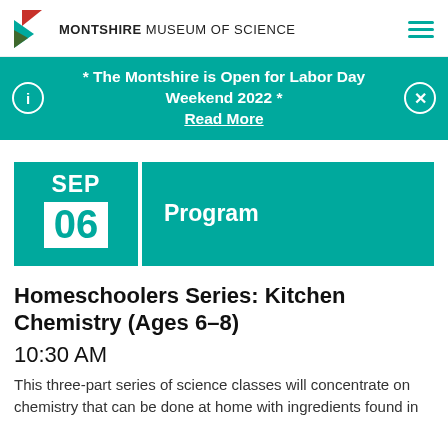MONTSHIRE MUSEUM OF SCIENCE
* The Montshire is Open for Labor Day Weekend 2022 * Read More
SEP 06  Program
Homeschoolers Series: Kitchen Chemistry (Ages 6-8)
10:30 AM
This three-part series of science classes will concentrate on chemistry that can be done at home with ingredients found in